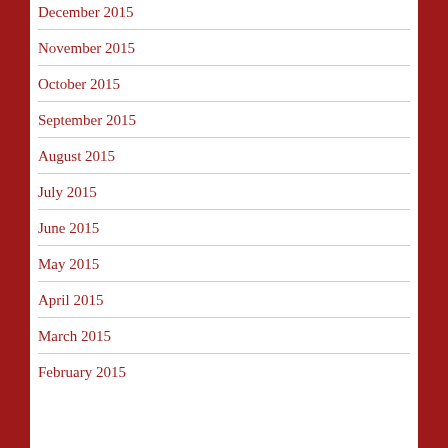December 2015
November 2015
October 2015
September 2015
August 2015
July 2015
June 2015
May 2015
April 2015
March 2015
February 2015